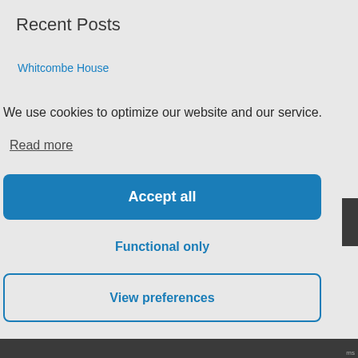Recent Posts
Whitcombe House
We use cookies to optimize our website and our service.
Read more
Accept all
Functional only
View preferences